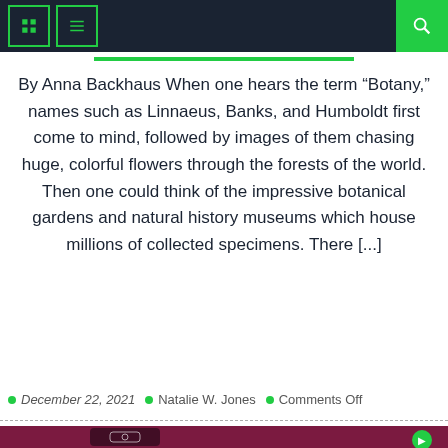Navigation bar with menu icons and search button
By Anna Backhaus When one hears the term “Botany,” names such as Linnaeus, Banks, and Humboldt first come to mind, followed by images of them chasing huge, colorful flowers through the forests of the world. Then one could think of the impressive botanical gardens and natural history museums which house millions of collected specimens. There [...]
December 22, 2021  |  Natalie W. Jones  |  Comments Off
[Figure (photo): Hand holding a smartphone displaying Instagram app on a pink/red background, with a green circular button overlay]